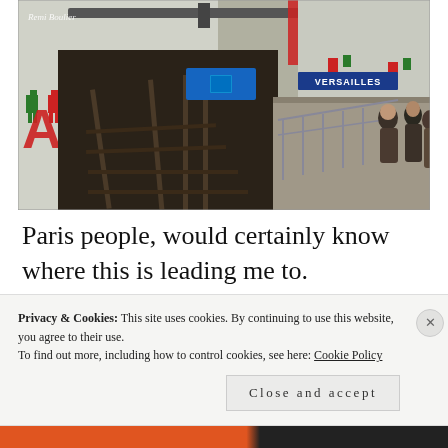[Figure (photo): Paris metro station Porte de Versailles. View from platform showing tracks, blue station signs reading 'Pte de VERSAILLES' and 'VERSAILLES', colorful tile decorations on walls with red and green pixel-art figures, a large red letter 'A', overhead blue information boards, platform with metal railings, and people on the right side.]
Paris people, would certainly know where this is leading me to.
Privacy & Cookies: This site uses cookies. By continuing to use this website, you agree to their use.
To find out more, including how to control cookies, see here: Cookie Policy